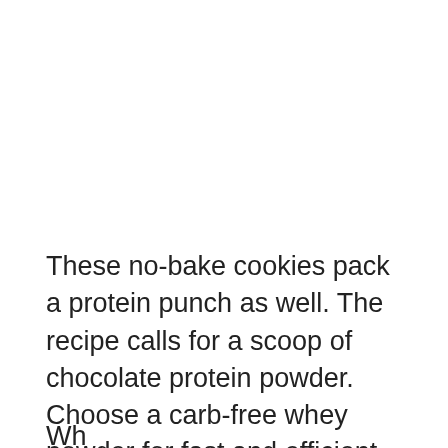These no-bake cookies pack a protein punch as well. The recipe calls for a scoop of chocolate protein powder. Choose a carb-free whey powder for fast and efficient absorption of amino acids. With over 4-grams of protein per cookie, they make for a great post-workout treat that won't undo all of your hard work on the cardio machines. (2)
Wh...